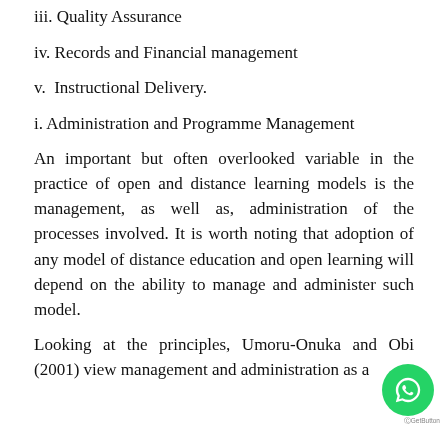iii. Quality Assurance
iv. Records and Financial management
v.  Instructional Delivery.
i. Administration and Programme Management
An important but often overlooked variable in the practice of open and distance learning models is the management, as well as, administration of the processes involved. It is worth noting that adoption of any model of distance education and open learning will depend on the ability to manage and administer such model.
Looking at the principles, Umoru-Onuka and Obi (2001) view management and administration as a